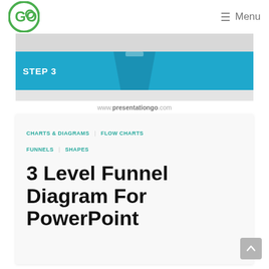GO  Menu
[Figure (screenshot): Partial screenshot of a funnel diagram slide showing STEP 3 label on a blue band with a funnel shape silhouette and gray strip at bottom]
www.presentationgo.com
CHARTS & DIAGRAMS  FLOW CHARTS  FUNNELS  SHAPES
3 Level Funnel Diagram For PowerPoint